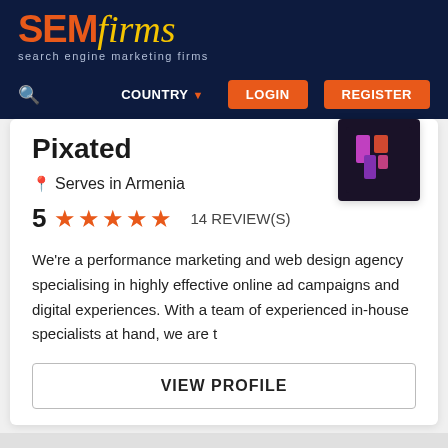SEMfirms - search engine marketing firms
Pixated
Serves in Armenia
5 ★★★★★ 14 REVIEW(S)
We're a performance marketing and web design agency specialising in highly effective online ad campaigns and digital experiences. With a team of experienced in-house specialists at hand, we are t
VIEW PROFILE